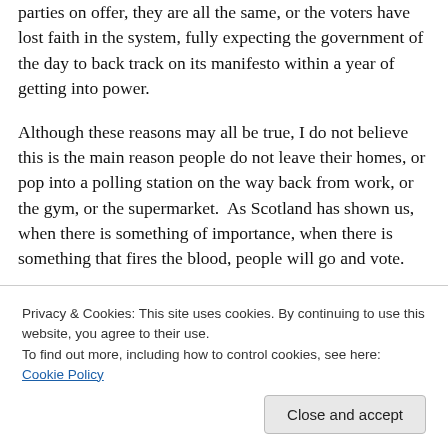parties on offer, they are all the same, or the voters have lost faith in the system, fully expecting the government of the day to back track on its manifesto within a year of getting into power.
Although these reasons may all be true, I do not believe this is the main reason people do not leave their homes, or pop into a polling station on the way back from work, or the gym, or the supermarket.  As Scotland has shown us, when there is something of importance, when there is something that fires the blood, people will go and vote.  But in England in these times what do we have to gain... think their lives are kind of ok.  Now don't misunderstand
Privacy & Cookies: This site uses cookies. By continuing to use this website, you agree to their use.
To find out more, including how to control cookies, see here: Cookie Policy